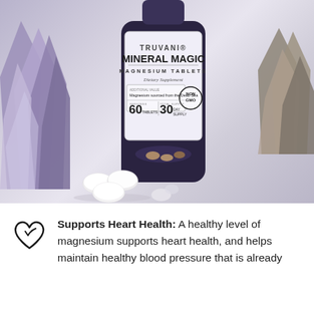[Figure (photo): Truvani Mineral Magic Magnesium Tablets supplement bottle with dark purple label showing product name, 60 tablets / 30 day supply info, NON GMO badge, surrounded by purple crystals and white magnesium tablets scattered on white surface]
Supports Heart Health: A healthy level of magnesium supports heart health, and helps maintain healthy blood pressure that is already